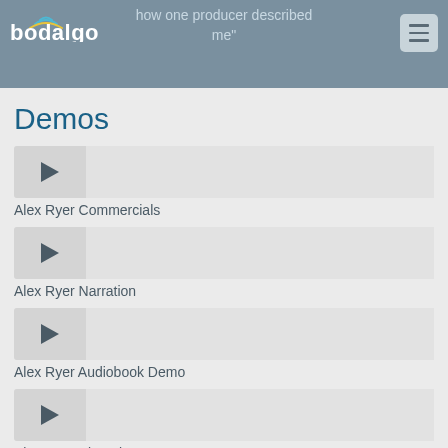bodalgo — how one producer described me"
[Figure (logo): Bodalgo logo with text 'bodalgo' and wave graphic below]
Demos
Alex Ryer Commercials
Alex Ryer Narration
Alex Ryer Audiobook Demo
Alex Ryer Elearning Demo